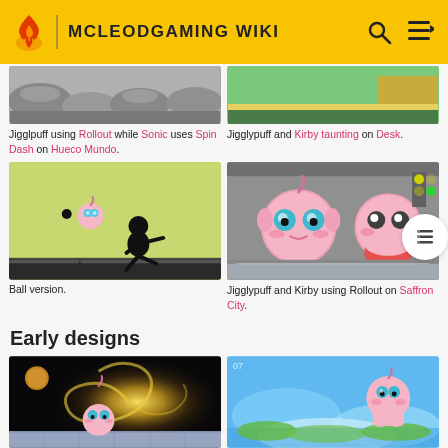MCLEODGAMING WIKI
[Figure (screenshot): Jigglpuff using Rollout while Sonic uses Spin Dash on Hueco Mundo stage — top portion cropped]
Jigglpuff using Rollout while Sonic uses Spin Dash on Hueco Mundo.
[Figure (screenshot): Jigglypuff and Kirby taunting on Desk — top portion cropped]
Jigglypuff and Kirby taunting on Desk.
[Figure (screenshot): Ball version of Jigglypuff — silhouette figure on green background]
Ball version.
[Figure (screenshot): Jigglypuff and Kirby using Rollout on Saffron City]
Jigglypuff and Kirby using Rollout on Saffron City.
Early designs
[Figure (screenshot): Jigglypuff early design on space/galaxy stage]
[Figure (screenshot): Jigglypuff early design on sky/island stage]